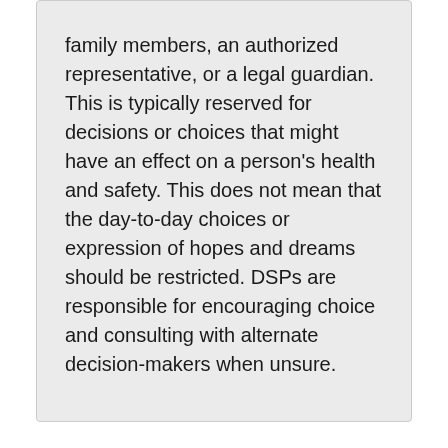family members, an authorized representative, or a legal guardian. This is typically reserved for decisions or choices that might have an effect on a person's health and safety. This does not mean that the day-to-day choices or expression of hopes and dreams should be restricted. DSPs are responsible for encouraging choice and consulting with alternate decision-makers when unsure.
Methods of Helping People Learn to Make Choices
When teaching someone with no prior experience with making choices, you need to